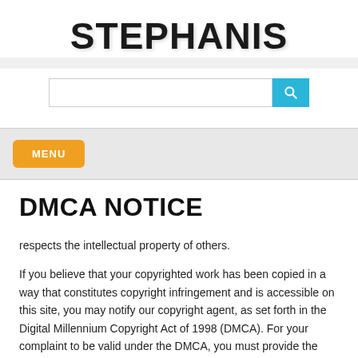STEPHANIS
[Figure (screenshot): Search bar with text input field and cyan search button with magnifying glass icon]
MENU
DMCA NOTICE
respects the intellectual property of others.
If you believe that your copyrighted work has been copied in a way that constitutes copyright infringement and is accessible on this site, you may notify our copyright agent, as set forth in the Digital Millennium Copyright Act of 1998 (DMCA). For your complaint to be valid under the DMCA, you must provide the following